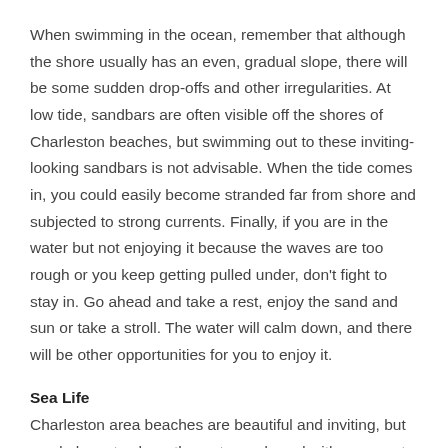When swimming in the ocean, remember that although the shore usually has an even, gradual slope, there will be some sudden drop-offs and other irregularities. At low tide, sandbars are often visible off the shores of Charleston beaches, but swimming out to these inviting-looking sandbars is not advisable. When the tide comes in, you could easily become stranded far from shore and subjected to strong currents. Finally, if you are in the water but not enjoying it because the waves are too rough or you keep getting pulled under, don't fight to stay in. Go ahead and take a rest, enjoy the sand and sun or take a stroll. The water will calm down, and there will be other opportunities for you to enjoy it.
Sea Life
Charleston area beaches are beautiful and inviting, but we do have to share the water and sand with some not-so-pleasant sea creatures. Stingrays and